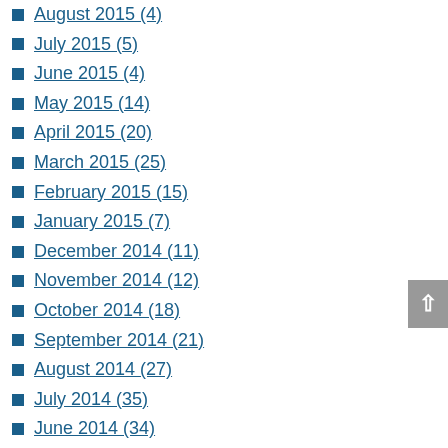August 2015 (4)
July 2015 (5)
June 2015 (4)
May 2015 (14)
April 2015 (20)
March 2015 (25)
February 2015 (15)
January 2015 (7)
December 2014 (11)
November 2014 (12)
October 2014 (18)
September 2014 (21)
August 2014 (27)
July 2014 (35)
June 2014 (34)
May 2014 (46)
April 2014 (70)